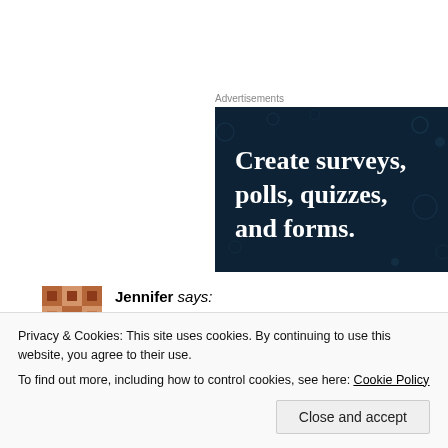Advertisements
[Figure (other): Advertisement banner for a survey/forms product showing text 'Create surveys, polls, quizzes, and forms.' on a dark navy background with decorative dots]
Jennifer says:
January 20, 2018 at 2:50 pm
I have a top hat from Dunn's it's in a bit of a sorry
Privacy & Cookies: This site uses cookies. By continuing to use this website, you agree to their use.
To find out more, including how to control cookies, see here: Cookie Policy
Close and accept